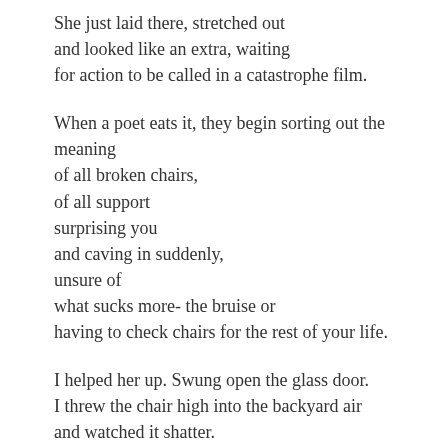She just laid there, stretched out
and looked like an extra, waiting
for action to be called in a catastrophe film.
When a poet eats it, they begin sorting out the meaning
of all broken chairs,
of all support
surprising you
and caving in suddenly,
unsure of
what sucks more- the bruise or
having to check chairs for the rest of your life.
I helped her up. Swung open the glass door.
I threw the chair high into the backyard air
and watched it shatter.